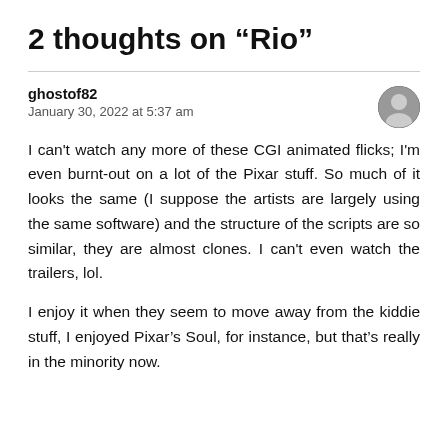2 thoughts on “Rio”
ghostof82
January 30, 2022 at 5:37 am
I can't watch any more of these CGI animated flicks; I'm even burnt-out on a lot of the Pixar stuff. So much of it looks the same (I suppose the artists are largely using the same software) and the structure of the scripts are so similar, they are almost clones. I can't even watch the trailers, lol.
I enjoy it when they seem to move away from the kiddie stuff, I enjoyed Pixar’s Soul, for instance, but that’s really in the minority now.